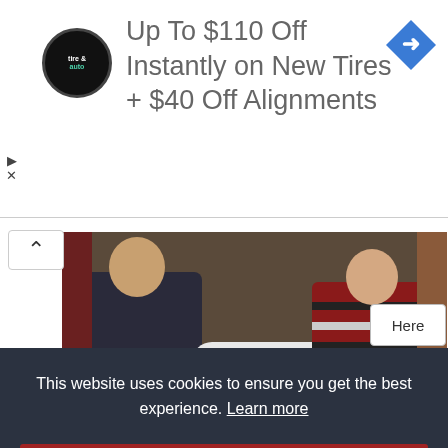[Figure (screenshot): Advertisement banner for tire and auto service: 'Up To $110 Off Instantly on New Tires + $40 Off Alignments' with circular tire & auto logo on left and blue diamond navigation arrow icon on right]
[Figure (photo): A man and woman sitting on either side of a white mattress, appearing to test it]
Unsold Mattresses Selling For Nearly Nothing In Ashburn
This website uses cookies to ensure you get the best experience. Learn more
Got it